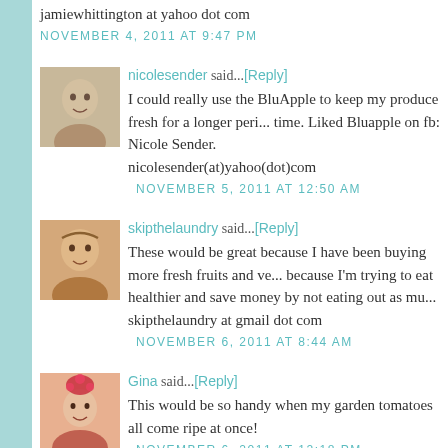jamiewhittington at yahoo dot com
NOVEMBER 4, 2011 AT 9:47 PM
nicolesender said...[Reply]
I could really use the BluApple to keep my produce fresh for a longer period of time. Liked Bluapple on fb: Nicole Sender. nicolesender(at)yahoo(dot)com
NOVEMBER 5, 2011 AT 12:50 AM
skipthelaundry said...[Reply]
These would be great because I have been buying more fresh fruits and vegetables because I'm trying to eat healthier and save money by not eating out as much. skipthelaundry at gmail dot com
NOVEMBER 6, 2011 AT 8:44 AM
Gina said...[Reply]
This would be so handy when my garden tomatoes all come ripe at once!
NOVEMBER 6, 2011 AT 12:18 PM